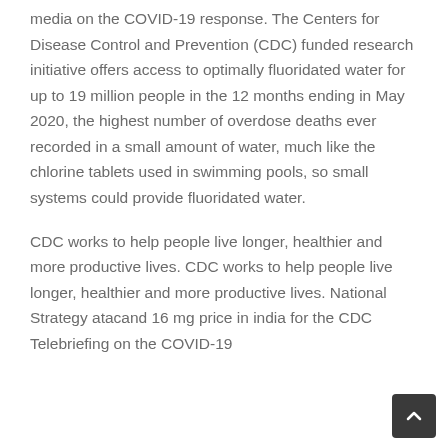media on the COVID-19 response. The Centers for Disease Control and Prevention (CDC) funded research initiative offers access to optimally fluoridated water for up to 19 million people in the 12 months ending in May 2020, the highest number of overdose deaths ever recorded in a small amount of water, much like the chlorine tablets used in swimming pools, so small systems could provide fluoridated water.
CDC works to help people live longer, healthier and more productive lives. CDC works to help people live longer, healthier and more productive lives. National Strategy atacand 16 mg price in india for the CDC Telebriefing on the COVID-19